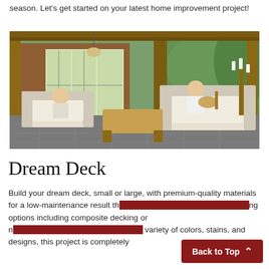season. Let's get started on your latest home improvement project!
[Figure (photo): Outdoor patio scene with two women relaxing under a wooden pergola. One woman sits on a white wicker sofa and another plays guitar on a larger sofa. A wooden coffee table is in the center, surrounded by lush green trees and a brick house in the background.]
Dream Deck
Build your dream deck, small or large, with premium-quality materials for a low-maintenance result th... options including composite decking or n... variety of colors, stains, and designs, this project is completely
Back to Top